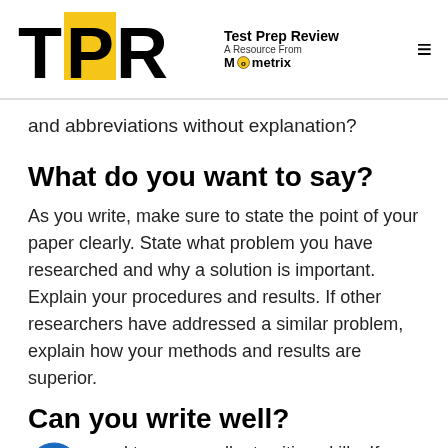Test Prep Review — A Resource From Mometrix
and abbreviations without explanation?
What do you want to say?
As you write, make sure to state the point of your paper clearly. State what problem you have researched and why a solution is important. Explain your procedures and results. If other researchers have addressed a similar problem, explain how your methods and results are superior.
Can you write well?
need to use excellent writing skills. If you are not confident in your writing skills, have a